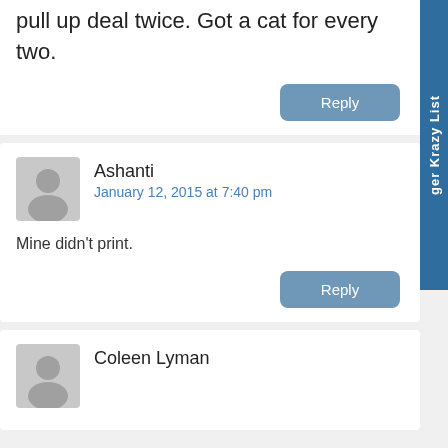pull up deal twice. Got a cat for every two.
Reply
Ashanti  January 12, 2015 at 7:40 pm
Mine didn't print.
Reply
Coleen Lyman
ger Krazy List